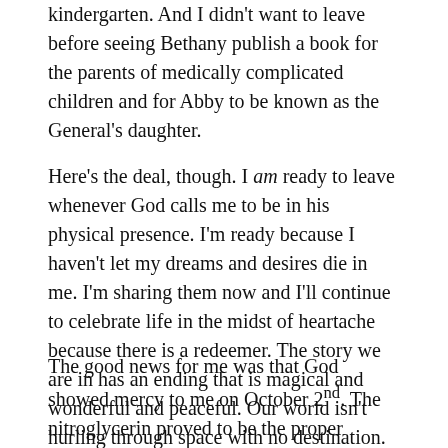kindergarten. And I didn't want to leave before seeing Bethany publish a book for the parents of medically complicated children and for Abby to be known as the General's daughter.
Here's the deal, though. I am ready to leave whenever God calls me to be in his physical presence. I'm ready because I haven't let my dreams and desires die in me. I'm sharing them now and I'll continue to celebrate life in the midst of heartache because there is a redeemer. The story we are in has an ending that is magical and wonderful and peaceful. Our world isn't hurling through space with no destination.
The good news for me was that God showed mercy to me on October 2nd. The nitroglycerin proved to be the proper antidote for artery distress, which was probably a coronary artery spasm. Subsequent